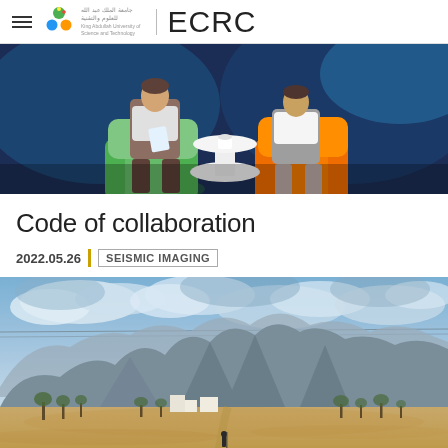ECRC — King Abdullah University of Science and Technology
[Figure (photo): Two people sitting in colorful chairs (green and orange) at a round white table, appearing to be in a TV studio or conference setting with blue background lighting]
Code of collaboration
2022.05.26  |  SEISMIC IMAGING
[Figure (photo): Desert landscape with sandy terrain, sparse trees, small white buildings in the middle distance, and dramatic rocky mountains under a cloudy sky]